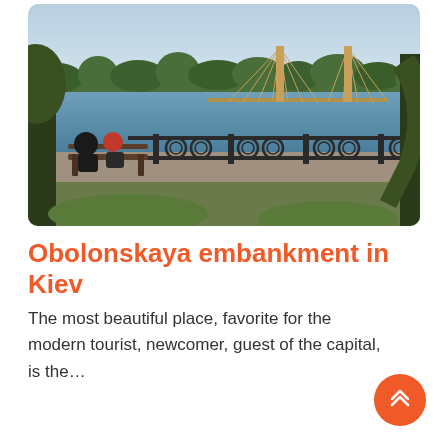[Figure (photo): A riverside embankment scene in Kiev. Two people sit on a bench in the foreground near decorative iron railings. A cable-stayed bridge is visible in the background across a wide river. Trees frame the left and right sides. The photo has soft warm evening light.]
Obolonskaya embankment in Kiev
The most beautiful place, favorite for the modern tourist, newcomer, guest of the capital, is the…